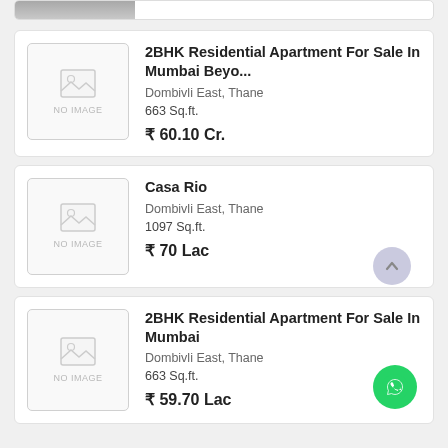[Figure (photo): Partial top listing card showing only a cropped photo at the top of the page]
2BHK Residential Apartment For Sale In Mumbai Beyo...
Dombivli East, Thane
663 Sq.ft.
₹ 60.10 Cr.
Casa Rio
Dombivli East, Thane
1097 Sq.ft.
₹ 70 Lac
2BHK Residential Apartment For Sale In Mumbai
Dombivli East, Thane
663 Sq.ft.
₹ 59.70 Lac